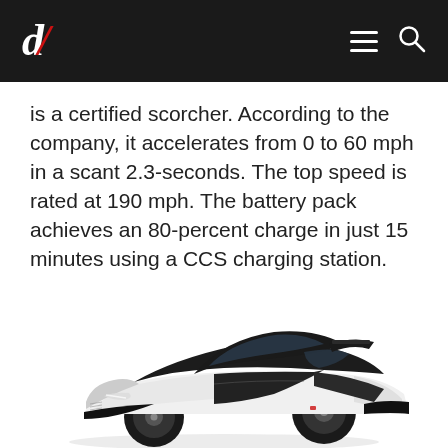dl [logo with hamburger menu and search icon]
is a certified scorcher. According to the company, it accelerates from 0 to 60 mph in a scant 2.3-seconds. The top speed is rated at 190 mph. The battery pack achieves an 80-percent charge in just 15 minutes using a CCS charging station.
[Figure (photo): A white and black electric supercar (Apex AP-0 or similar) photographed from a three-quarter front angle on a white background. The car has a low, aggressive stance with dark carbon fiber panels and white body panels.]